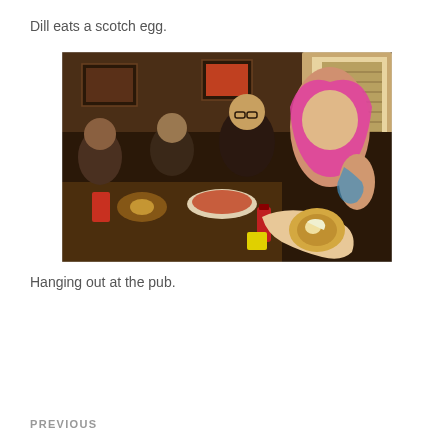Dill eats a scotch egg.
[Figure (photo): A group of people, mostly women, sitting around a restaurant or pub table with food and drinks. In the foreground, a woman with pink hair and tattoos holds a scotch egg up close to the camera. A woman with glasses and short blonde hair sits nearby. The dark interior has framed pictures on the walls.]
Hanging out at the pub.
PREVIOUS